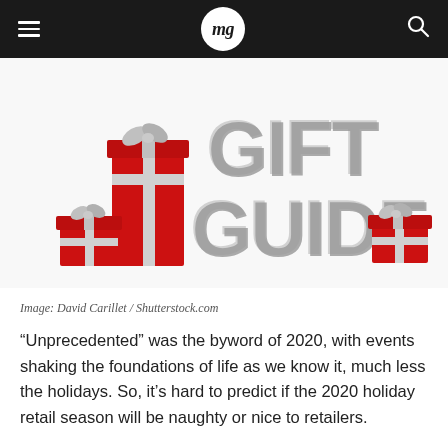mg
[Figure (illustration): 3D render of the words 'GIFT GUIDE' in large silver/gray block letters, surrounded by red and silver wrapped gift boxes with ribbons, on a white background.]
Image: David Carillet / Shutterstock.com
“Unprecedented” was the byword of 2020, with events shaking the foundations of life as we know it, much less the holidays. So, it’s hard to predict if the 2020 holiday retail season will be naughty or nice to retailers.